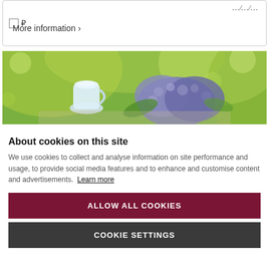□ ₽  …/…/…
More information ›
[Figure (photo): Garden scene with blue/purple hydrangea flowers and a white ceramic pitcher on a table, surrounded by green foliage and bokeh background]
About cookies on this site
We use cookies to collect and analyse information on site performance and usage, to provide social media features and to enhance and customise content and advertisements. Learn more
ALLOW ALL COOKIES
COOKIE SETTINGS